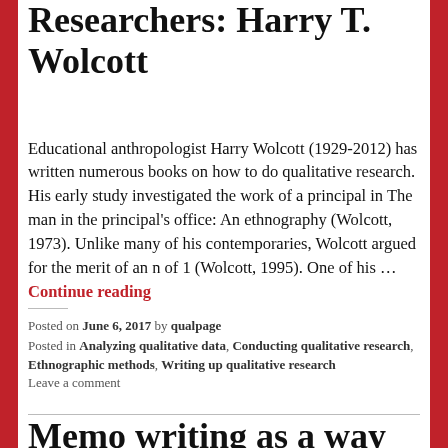Researchers: Harry T. Wolcott
Educational anthropologist Harry Wolcott (1929-2012) has written numerous books on how to do qualitative research. His early study investigated the work of a principal in The man in the principal's office: An ethnography (Wolcott, 1973). Unlike many of his contemporaries, Wolcott argued for the merit of an n of 1 (Wolcott, 1995). One of his … Continue reading
Posted on June 6, 2017 by qualpage
Posted in Analyzing qualitative data, Conducting qualitative research, Ethnographic methods, Writing up qualitative research
Leave a comment
Memo writing as a way